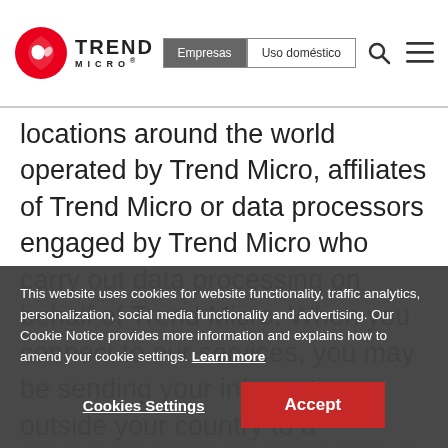[Figure (logo): Trend Micro logo with red circular icon and company name]
Empresas | Uso doméstico
locations around the world operated by Trend Micro, affiliates of Trend Micro or data processors engaged by Trend Micro who carry out data processing on behalf of Trend Micro. When you connect to our services, you may be sending your information outside your country to a jurisdiction that may not provide equivalent levels of data protection, as is required in such cases. In such cases, Trend Micro will ensure that an appropriate safeguard under Art. 46 GDPR, namely standard data protection clauses. Copies of the standard data protection clauses can be obtained by contacting Trend Micro.
This website uses cookies for website functionality, traffic analytics, personalization, social media functionality and advertising. Our Cookie Notice provides more information and explains how to amend your cookie settings. Learn more
Cookies Settings  Accept